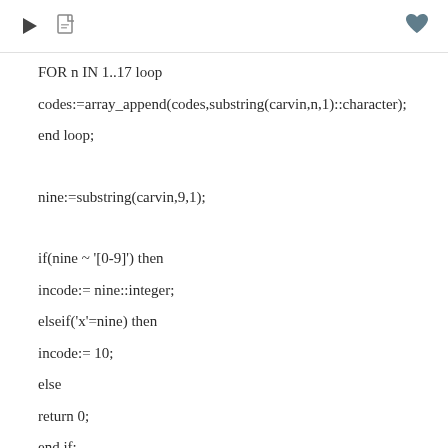▶ 🖼 ♥
FOR n IN 1..17 loop
codes:=array_append(codes,substring(carvin,n,1)::character);
end loop;
nine:=substring(carvin,9,1);
if(nine ~ '[0-9]') then
incode:= nine::integer;
elseif('x'=nine) then
incode:= 10;
else
return 0;
end if;